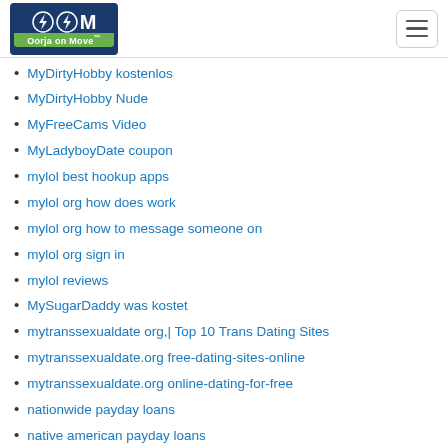Oorja on Move
MyDirtyHobby kostenlos
MyDirtyHobby Nude
MyFreeCams Video
MyLadyboyDate coupon
mylol best hookup apps
mylol org how does work
mylol org how to message someone on
mylol org sign in
mylol reviews
MySugarDaddy was kostet
mytranssexualdate org,| Top 10 Trans Dating Sites
mytranssexualdate.org free-dating-sites-online
mytranssexualdate.org online-dating-for-free
nationwide payday loans
native american payday loans
naughtydate dating